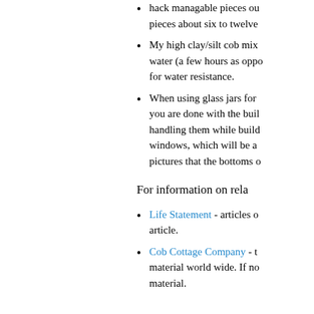hack managable pieces out pieces about six to twelve
My high clay/silt cob mix water (a few hours as opposed for water resistance.
When using glass jars for you are done with the building handling them while building windows, which will be all pictures that the bottoms of
For information on rela
Life Statement - articles o article.
Cob Cottage Company - the material world wide. If no material.